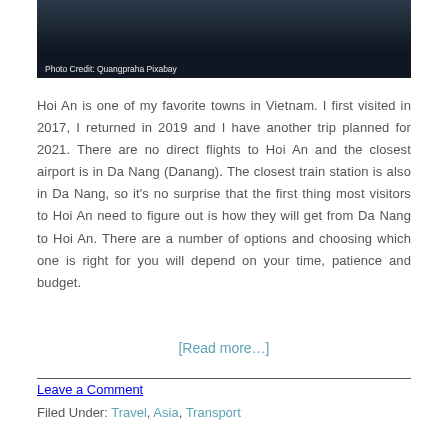[Figure (photo): Dark aerial or night photo of a boat/bridge scene in Vietnam with caption 'Photo Credit: Quangpraha Pixabay']
Hoi An is one of my favorite towns in Vietnam. I first visited in 2017, I returned in 2019 and I have another trip planned for 2021. There are no direct flights to Hoi An and the closest airport is in Da Nang (Danang). The closest train station is also in Da Nang, so it's no surprise that the first thing most visitors to Hoi An need to figure out is how they will get from Da Nang to Hoi An. There are a number of options and choosing which one is right for you will depend on your time, patience and budget.
[Read more...]
Leave a Comment
Filed Under: Travel, Asia, Transport